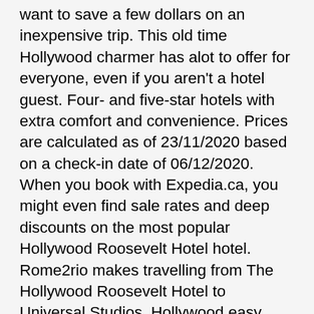want to save a few dollars on an inexpensive trip. This old time Hollywood charmer has alot to offer for everyone, even if you aren't a hotel guest. Four- and five-star hotels with extra comfort and convenience. Prices are calculated as of 23/11/2020 based on a check-in date of 06/12/2020. When you book with Expedia.ca, you might even find sale rates and deep discounts on the most popular Hollywood Roosevelt Hotel hotel. Rome2rio makes travelling from The Hollywood Roosevelt Hotel to Universal Studios, Hollywood easy. Airport transportation … Rome2rio is a door-to-door travel information and booking engine, helping you get to and from any location in the world. I was traveling to meet and greet a rock star in Hollywood, so you expect the place to be special and it was, The Roosevelt is one of those locations with a magical atmosphere, something between a legendary and glamorous place. US$0-US$592 + Price + taxes and fees. The most popular attraction types near The Hollywood Roosevelt are: What else is there to do near The Hollywood Roosevelt? New York City Hotels with Conference Rooms, New York City Hotels With Adjoining Rooms, Hotels near